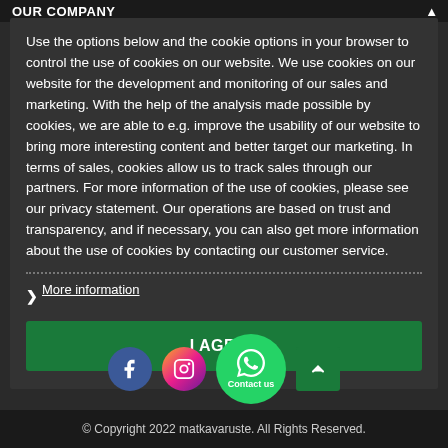OUR COMPANY
Use the options below and the cookie options in your browser to control the use of cookies on our website. We use cookies on our website for the development and monitoring of our sales and marketing. With the help of the analysis made possible by cookies, we are able to e.g. improve the usability of our website to bring more interesting content and better target our marketing. In terms of sales, cookies allow us to track sales through our partners. For more information of the use of cookies, please see our privacy statement. Our operations are based on trust and transparency, and if necessary, you can also get more information about the use of cookies by contacting our customer service.
> More information
I AGREE
© Copyright 2022 matkavaruste. All Rights Reserved.